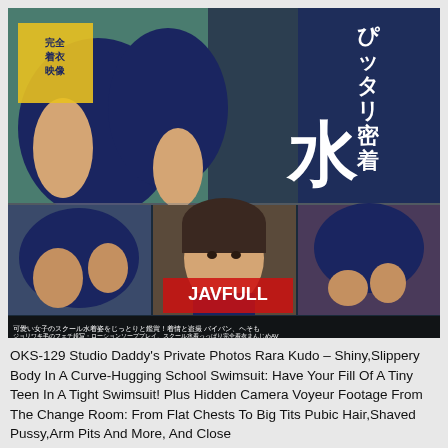[Figure (photo): Japanese adult video (JAV) product cover image showing a young woman in a dark navy school swimsuit. The cover features Japanese text including characters for 'ぴったり密着' (tightly fitted) and '水' (water/swimsuit), along with '完全着衣映像' in a yellow box. Three smaller thumbnail images are shown in the lower half of the cover. Japanese text caption at the bottom of the image. A red watermark logo is overlaid on the lower center portion.]
OKS-129 Studio Daddy's Private Photos Rara Kudo – Shiny,Slippery Body In A Curve-Hugging School Swimsuit: Have Your Fill Of A Tiny Teen In A Tight Swimsuit! Plus Hidden Camera Voyeur Footage From The Change Room: From Flat Chests To Big Tits Pubic Hair,Shaved Pussy,Arm Pits And More, And Close